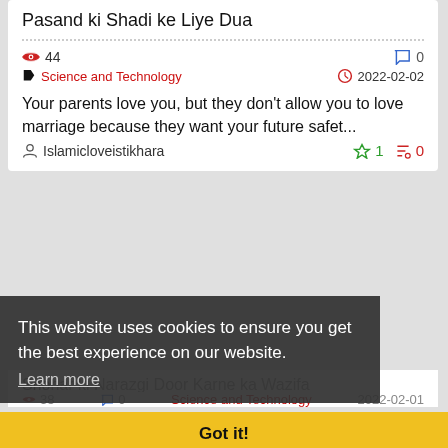Pasand ki Shadi ke Liye Dua
44 views | 0 comments | Science and Technology | 2022-02-02
Your parents love you, but they don't allow you to love marriage because they want your future safet...
Islamicloveistikhara | 1 upvote | 0 downvote
Read More
This website uses cookies to ensure you get the best experience on our website.
Learn more
Shohar ki Narazgi Door Karne ka Wazifa
38 | 0 | Science and Technology | 2022-02-01
If there is a dispute between you and your spouse and you live somewhere other than your home, you c...
Got it!